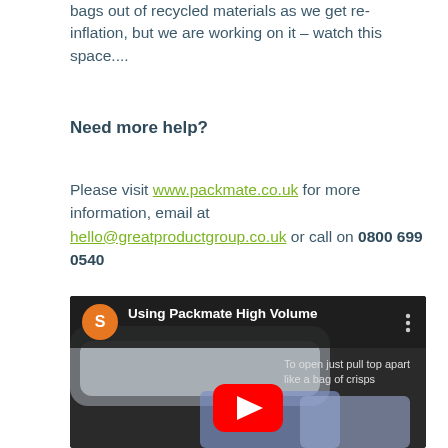bags out of recycled materials as we get re-inflation, but we are working on it – watch this space....
Need more help?
Please visit www.packmate.co.uk for more information, email at hello@greatproductgroup.co.uk or call on 0800 699 0540
[Figure (screenshot): YouTube video thumbnail showing 'Using Packmate High Volume' with subtitle 'To open just pull top apart like a bag of crisps', featuring an orange avatar circle with letter S, a three-dot menu icon, and a red YouTube play button over an image of vacuum-packed bags.]